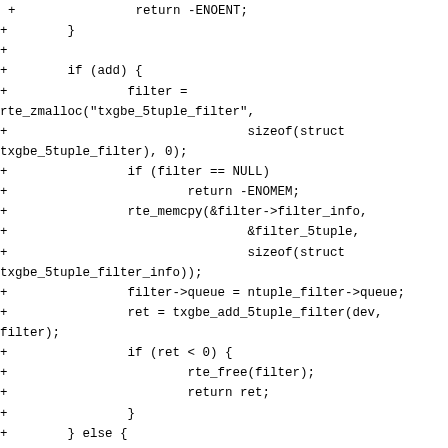Code snippet showing C source code diff with txgbe 5tuple filter functions